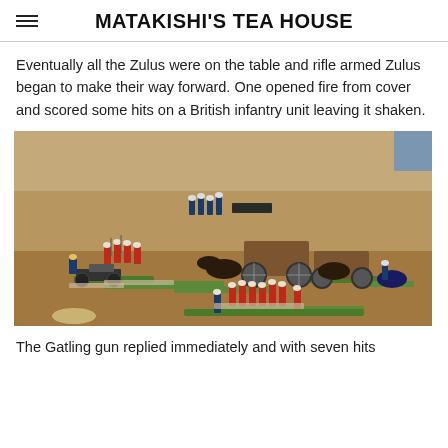MATAKISHI'S TEA HOUSE
Eventually all the Zulus were on the table and rifle armed Zulus began to make their way forward. One opened fire from cover and scored some hits on a British infantry unit leaving it shaken.
[Figure (photo): Tabletop wargame miniatures showing British colonial soldiers in red coats with white pith helmets, artillery pieces, wagons with horses, and other military units on a sandy terrain gaming table.]
The Gatling gun replied immediately and with seven hits